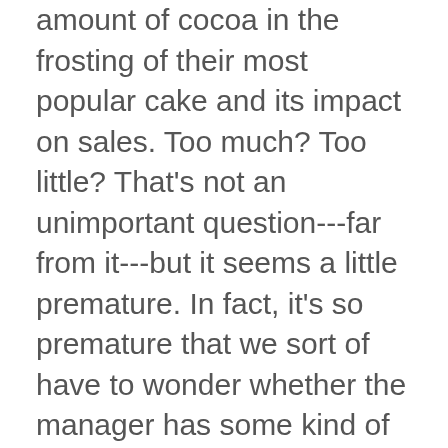amount of cocoa in the frosting of their most popular cake and its impact on sales. Too much? Too little? That's not an unimportant question---far from it---but it seems a little premature. In fact, it's so premature that we sort of have to wonder whether the manager has some kind of understanding with employee A, but maybe she's just so feckless that she doesn't notice.
So when you accuse the left of being unserious about monetary policy, my reaction is, um, so? Sure, we have to have a monetary policy.